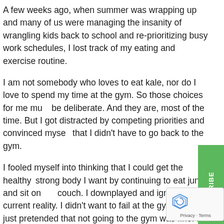A few weeks ago, when summer was wrapping up and many of us were managing the insanity of wrangling kids back to school and re-prioritizing busy work schedules, I lost track of my eating and exercise routine.
I am not somebody who loves to eat kale, nor do I love to spend my time at the gym. So those choices for me must be deliberate. And they are, most of the time. But I got distracted by competing priorities and convinced myself that I didn't have to go back to the gym.
I fooled myself into thinking that I could get the healthy, strong body I want by continuing to eat junk and sit on my couch. I downplayed and ignored my current reality. I didn't want to fail at the gym, so I just pretended that not going to the gym was fine. I didn't want to show up and notice how hard it was to do something that was so easy for me a month before.